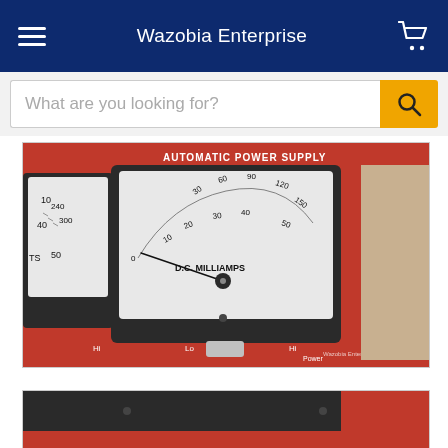Wazobia Enterprise
What are you looking for?
[Figure (photo): Close-up photograph of an Automatic Power Supply panel with two analog meters. The central meter reads D.C. MILLIAMPS with scale markings 0, 10, 20, 30, 40, 50 (lower) and 30, 60, 90, 120, 150 (upper). The panel is red with black meter housings. Labels Lo, Hi, and Power are visible at the bottom. Watermark reads Wazobia Enterprise.]
[Figure (photo): Partial view of the same or similar Automatic Power Supply panel, showing the bottom portion with dark meter housing on a red panel background.]